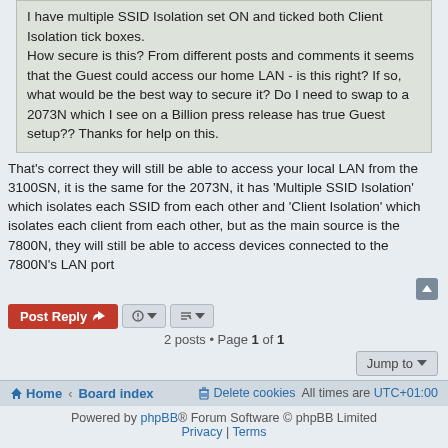I have multiple SSID Isolation set ON and ticked both Client Isolation tick boxes. How secure is this? From different posts and comments it seems that the Guest could access our home LAN - is this right? If so, what would be the best way to secure it? Do I need to swap to a 2073N which I see on a Billion press release has true Guest setup?? Thanks for help on this.
That's correct they will still be able to access your local LAN from the 3100SN, it is the same for the 2073N, it has 'Multiple SSID Isolation' which isolates each SSID from each other and 'Client Isolation' which isolates each client from each other, but as the main source is the 7800N, they will still be able to access devices connected to the 7800N's LAN port
2 posts • Page 1 of 1
Home · Board index   Delete cookies   All times are UTC+01:00
Powered by phpBB® Forum Software © phpBB Limited
Privacy | Terms